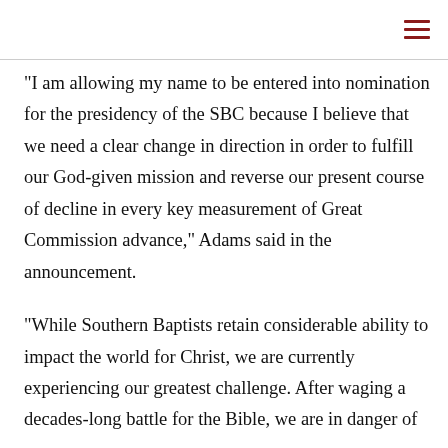“I am allowing my name to be entered into nomination for the presidency of the SBC because I believe that we need a clear change in direction in order to fulfill our God-given mission and reverse our present course of decline in every key measurement of Great Commission advance,” Adams said in the announcement.
“While Southern Baptists retain considerable ability to impact the world for Christ, we are currently experiencing our greatest challenge. After waging a decades-long battle for the Bible, we are in danger of